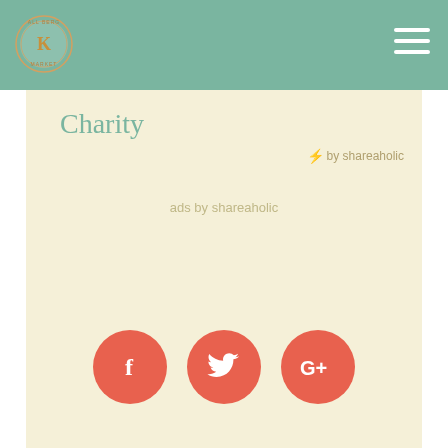[Figure (logo): Circular logo with 'K' letter in center, decorative border, teal/green colors]
[Figure (infographic): Hamburger menu icon (three white horizontal lines) in top right of navigation bar]
Charity
⚡ by shareaholic
ads by shareaholic
[Figure (infographic): Three coral/salmon colored circular social media buttons: Facebook (f), Twitter (bird), Google+ (G+)]
This website uses cookies
This website uses cookies to improve your experience. We'll assume you're ok with this, but you can opt-out if you wish.
Accept   Read More